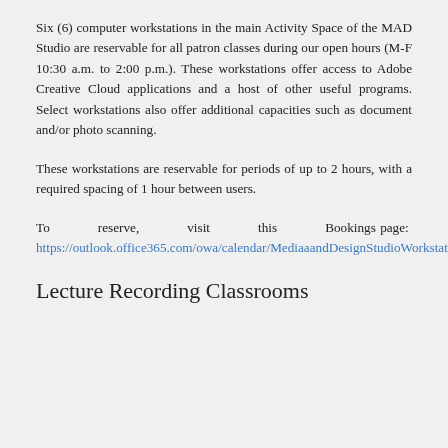Six (6) computer workstations in the main Activity Space of the MAD Studio are reservable for all patron classes during our open hours (M-F 10:30 a.m. to 2:00 p.m.). These workstations offer access to Adobe Creative Cloud applications and a host of other useful programs. Select workstations also offer additional capacities such as document and/or photo scanning.
These workstations are reservable for periods of up to 2 hours, with a required spacing of 1 hour between users.
To reserve, visit this Bookings page: https://outlook.office365.com/owa/calendar/MediaandDesignStudioWorkstations@nuwildcat.onmicrosoft.com/bookings/
Lecture Recording Classrooms